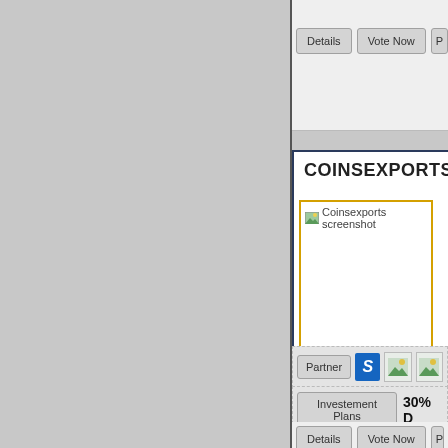[Figure (screenshot): Web UI screenshot showing top buttons: Details, Vote Now, and a partially visible third button]
COINSEXPORTS
[Figure (screenshot): Coinsexports screenshot image placeholder with yellow/gold border]
Partner
Investement Plans  30% D
Details  Vote Now  P